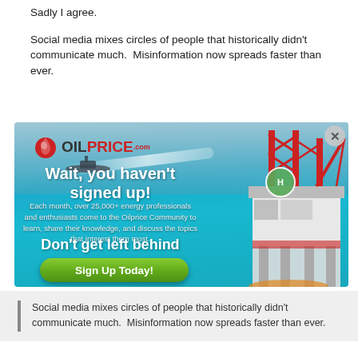Sadly I agree.
Social media mixes circles of people that historically didn't communicate much.  Misinformation now spreads faster than ever.
[Figure (screenshot): OilPrice.com popup advertisement with ocean and oil rig background. Contains logo, headline 'Wait, you haven't signed up!', subtext about 25,000+ energy professionals, tagline 'Don't get left behind', and green 'Sign Up Today!' button. Close button (X) in top right corner.]
Social media mixes circles of people that historically didn't communicate much.  Misinformation now spreads faster than ever.